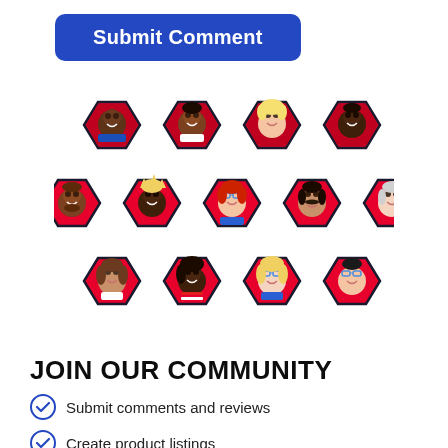Submit Comment
[Figure (illustration): Grid of 13 diverse cartoon avatar portraits in red hexagonal frames arranged in a honeycomb pattern — 4 in top row, 5 in middle row, 4 in bottom row]
JOIN OUR COMMUNITY
Submit comments and reviews
Create product listings